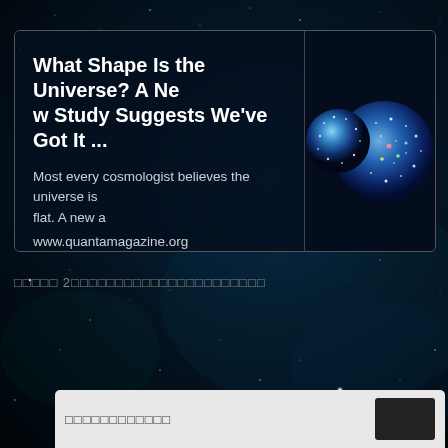[Figure (screenshot): Article card with title 'What Shape Is the Universe? A New Study Suggests We've Got It ...' and descriptive text about cosmologists believing the universe is flat, with URL www.quantamagazine.org, alongside an image of a blue cosmic sphere/globe showing the cosmic microwave background]
□□□□□ 2□□□□□□□□□□□□□□□□□□□□□□
[Figure (screenshot): Partial bottom card with garbled/box text and a dark image thumbnail on the right, visible at bottom of page]